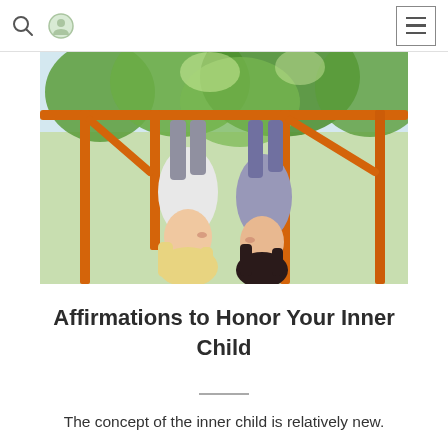search icon, user icon, menu button
[Figure (photo): Two children hanging upside down from orange playground bars outdoors, with green trees in the background. Photo is displayed upside down showing the children face-to-face, laughing.]
Affirmations to Honor Your Inner Child
The concept of the inner child is relatively new.